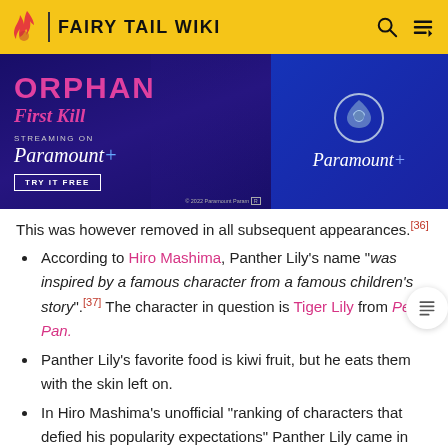FAIRY TAIL WIKI
[Figure (photo): Advertisement banner for Orphan: First Kill streaming on Paramount+]
This was however removed in all subsequent appearances.[36]
According to Hiro Mashima, Panther Lily's name "was inspired by a famous character from a famous children's story".[37] The character in question is Tiger Lily from Peter Pan.
Panther Lily's favorite food is kiwi fruit, but he eats them with the skin left on.
In Hiro Mashima's unofficial "ranking of characters that defied his popularity expectations" Panther Lily came in 4th place.[38]